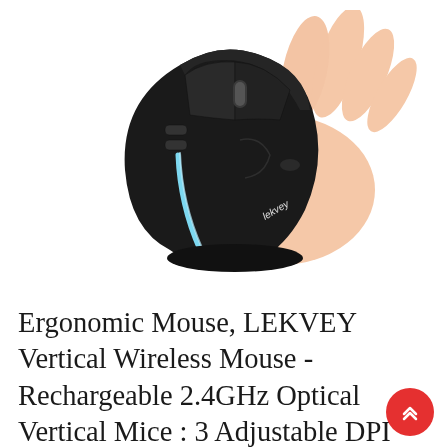[Figure (photo): A hand holding a black LEKVEY vertical ergonomic wireless mouse. The mouse has a light blue LED stripe on its side and the Lekvey logo. The hand grips the mouse in an upright vertical position.]
Ergonomic Mouse, LEKVEY Vertical Wireless Mouse - Rechargeable 2.4GHz Optical Vertical Mice : 3 Adjustable DPI 800/1200/1600 Levels 6 Buttons, for Laptop, PC, Computer Desktop, Mac, Android...